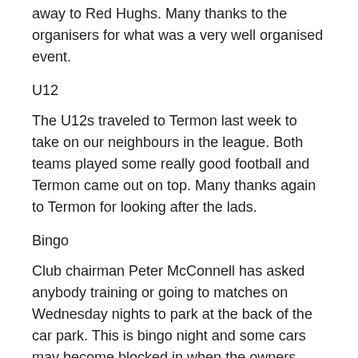away to Red Hughs. Many thanks to the organisers for what was a very well organised event.
U12
The U12s traveled to Termon last week to take on our neighbours in the league. Both teams played some really good football and Termon came out on top. Many thanks again to Termon for looking after the lads.
Bingo
Club chairman Peter McConnell has asked anybody training or going to matches on Wednesday nights to park at the back of the car park. This is bingo night and some cars may become blocked in when the owners return because of the crowd at the bingo.